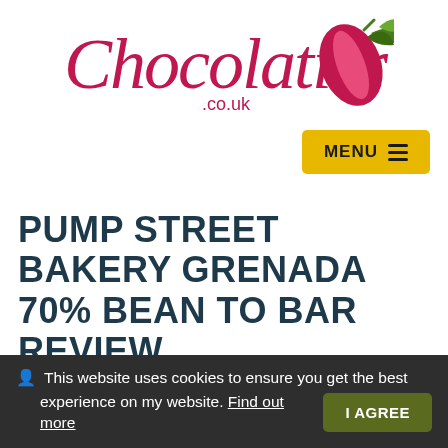[Figure (logo): Chocolatier.co.uk logo with cursive script and cacao pod illustration]
MENU ☰
PUMP STREET BAKERY GRENADA 70% BEAN TO BAR REVIEW
🏠 Chocolatier.co.uk > Chocolate Reviews > Pump Street Bakery Grenada 70% Bean To Bar Review
This website uses cookies to ensure you get the best experience on my website. Find out more  I AGREE